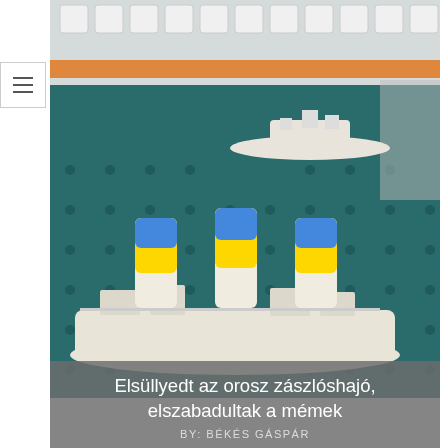[Figure (photo): Miniature model ship (resembling a large ocean liner/warship) with three funnels painted blue and yellow (Ukrainian flag colors), placed on a dark teal pegboard surface. A smaller white ship model is visible in the background.]
Elsüllyedt az orosz zászlóshajó, elszabadultak a mémek
BY: BÉKÉS GÁSPÁR